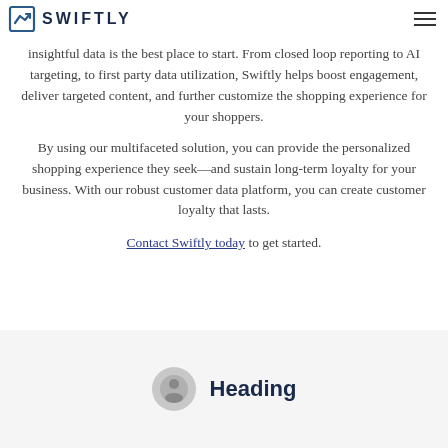SWIFTLY
insightful data is the best place to start. From closed loop reporting to AI targeting, to first party data utilization, Swiftly helps boost engagement, deliver targeted content, and further customize the shopping experience for your shoppers.
By using our multifaceted solution, you can provide the personalized shopping experience they seek—and sustain long-term loyalty for your business. With our robust customer data platform, you can create customer loyalty that lasts.
Contact Swiftly today to get started.
Heading